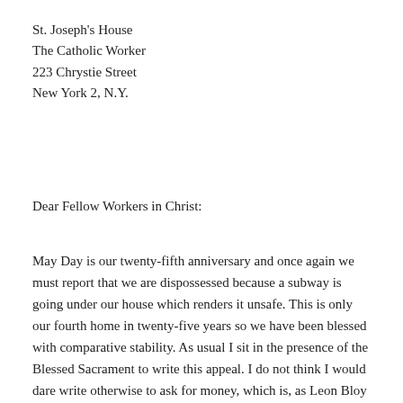St. Joseph's House
The Catholic Worker
223 Chrystie Street
New York 2, N.Y.
Dear Fellow Workers in Christ:
May Day is our twenty-fifth anniversary and once again we must report that we are dispossessed because a subway is going under our house which renders it unsafe. This is only our fourth home in twenty-five years so we have been blessed with comparative stability. As usual I sit in the presence of the Blessed Sacrament to write this appeal. I do not think I would dare write otherwise to ask for money, which is, as Leon Bloy says, the blood of the poor, since there are so many who help us out of their meager earnings, in spite of the cost of living going up and unemployment rising. Yesterday, Kieran, who has charge of the money, told me how he was called upon Saturday night to pay the week's rent for two Puerto Rican families who